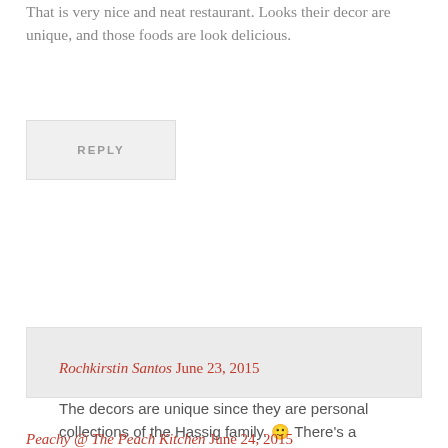That is very nice and neat restaurant. Looks their decor are unique, and those foods are look delicious.
REPLY
Rochkirstin Santos June 23, 2015
The decors are unique since they are personal collections of the Hassig family. 🙂 There's a room near the entrance of the restaurant filled with letters and memorabilia.
REPLY
Peachy @ The Peach Kitchen June 24, 2015